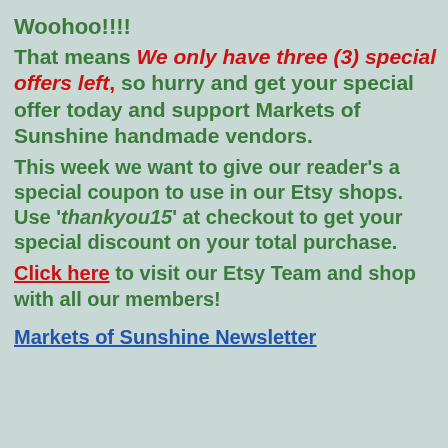Woohoo!!!!
That means We only have three (3) special offers left, so hurry and get your special offer today and support Markets of Sunshine handmade vendors.
This week we want to give our reader's a special coupon to use in our Etsy shops. Use 'thankyou15' at checkout to get your special discount on your total purchase. Click here to visit our Etsy Team and shop with all our members!
Markets of Sunshine Newsletter